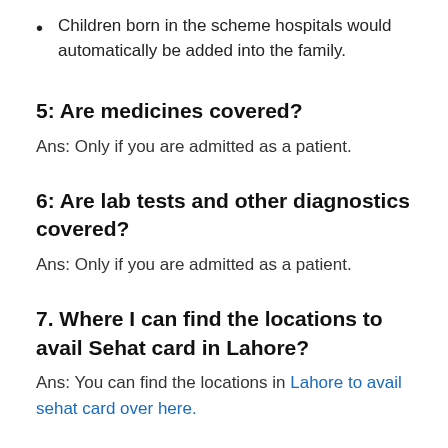Children born in the scheme hospitals would automatically be added into the family.
5: Are medicines covered?
Ans: Only if you are admitted as a patient.
6: Are lab tests and other diagnostics covered?
Ans: Only if you are admitted as a patient.
7. Where I can find the locations to avail Sehat card in Lahore?
Ans: You can find the locations in Lahore to avail sehat card over here.